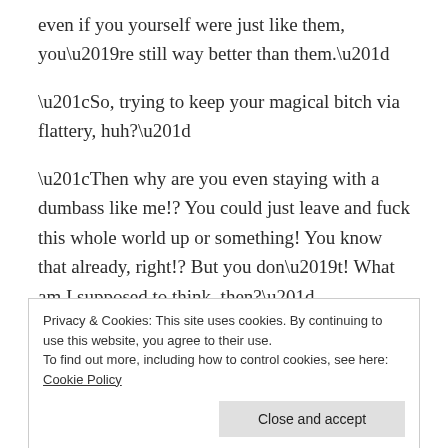even if you yourself were just like them, you’re still way better than them.”
“So, trying to keep your magical bitch via flattery, huh?”
“Then why are you even staying with a dumbass like me!? You could just leave and fuck this whole world up or something! You know that already, right!? But you don’t! What am I supposed to think, then?”
And then he got another somewhat electrified slap to the
Privacy & Cookies: This site uses cookies. By continuing to use this website, you agree to their use.
To find out more, including how to control cookies, see here: Cookie Policy
with a glare.